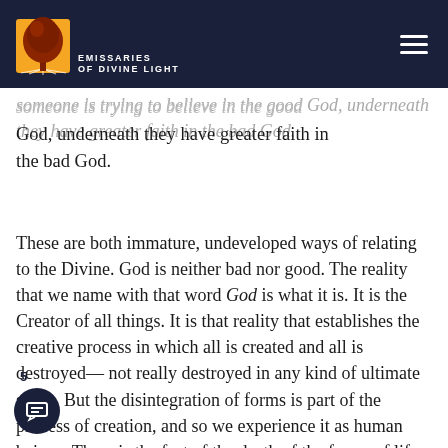EMISSARIES OF DIVINE LIGHT
someone is trying to believe in the good God, underneath they have greater faith in the bad God.
These are both immature, undeveloped ways of relating to the Divine. God is neither bad nor good. The reality that we name with that word God is what it is. It is the Creator of all things. It is that reality that establishes the creative process in which all is created and all is destroyed—not really destroyed in any kind of ultimate sense. But the disintegration of forms is part of the process of creation, and so we experience it as human beings. There is the fact of the death of the forms of life.
5